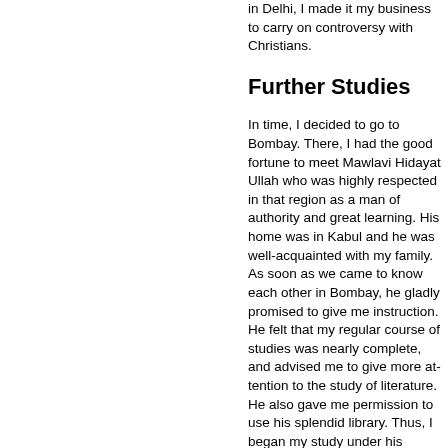in Delhi, I made it my business to carry on controversy with Christians.
Further Studies
In time, I decided to go to Bombay. There, I had the good fortune to meet Mawlavi Hidayat Ullah who was highly respected in that region as a man of authority and great learning. His home was in Kabul and he was well-acquainted with my family. As soon as we came to know each other in Bombay, he gladly promised to give me instruction. He felt that my regular course of studies was nearly complete, and advised me to give more attention to the study of literature. He also gave me permission to use his splendid library. Thus, I began my study under his guidance. This mawlavi had spent most of his life in Istanbul (Constantinople), Egypt, and Arabia, and was a literary